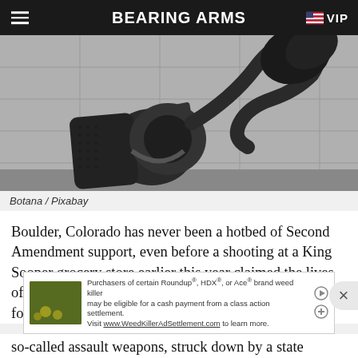BEARING ARMS
[Figure (photo): Close-up photo of a large bronze sculpture of a revolver handgun with its barrel tied in a knot, displayed in front of a concrete building facade.]
Botana / Pixabay
Boulder, Colorado has never been a hotbed of Second Amendment support, even before a shooting at a King Sooper grocery store earlier this year claimed the lives of ten people. The Berkeley of the Rocky Mountain foothills has long embraced restrictions on the right to so-called assault weapons, struck down by a state
[Figure (screenshot): Advertisement banner: Purchasers of certain Roundup®, HDX®, or Ace® brand weed killer may be eligible for a cash payment from a class action settlement. Visit www.WeedKillerAdSettlement.com to learn more.]